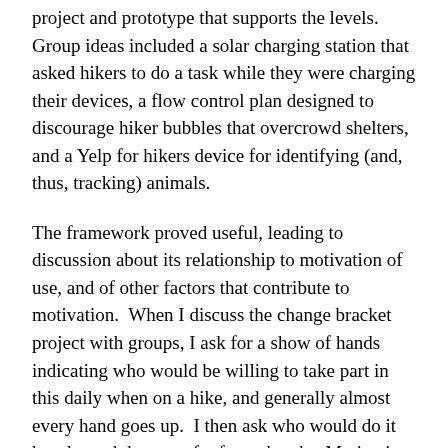project and prototype that supports the levels.  Group ideas included a solar charging station that asked hikers to do a task while they were charging their devices, a flow control plan designed to discourage hiker bubbles that overcrowd shelters, and a Yelp for hikers device for identifying (and, thus, tracking) animals.
The framework proved useful, leading to discussion about its relationship to motivation of use, and of other factors that contribute to motivation.  When I discuss the change bracket project with groups, I ask for a show of hands indicating who would be willing to take part in this daily when on a hike, and generally almost every hand goes up.  I then ask who would do it hourly, and there are far fewer hands.  Motivation will have its limits, and the “asks” can’t grow too large.  Tim continues to explore